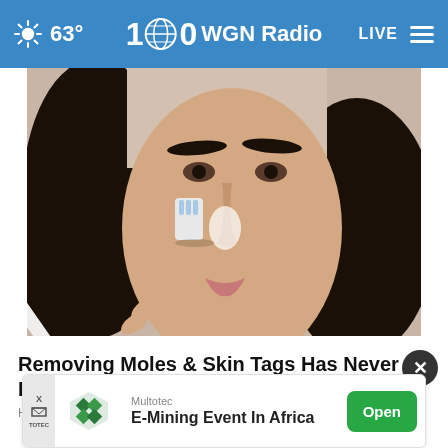63° WGN Radio LIVE
[Figure (photo): Close-up photo of a woman applying a white substance to her nose with a toothbrush]
Removing Moles & Skin Tags Has Never Been This Easy
Health
[Figure (infographic): Advertisement banner: Multotec E-Mining Event In Africa with Open button]